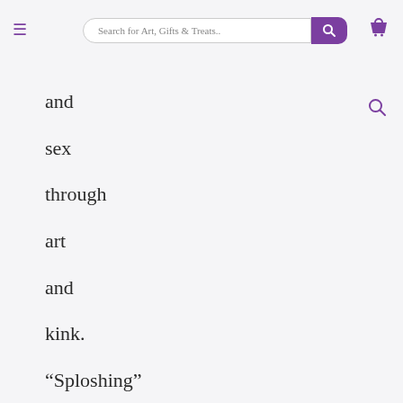Search for Art, Gifts & Treats..
and
sex
through
art
and
kink.

“Sploshing”
is
erotic
food
play.
Sploshers
spray,